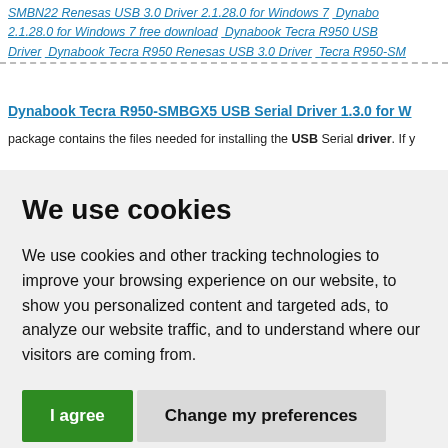SMBN22 Renesas USB 3.0 Driver 2.1.28.0 for Windows 7  Dynabook 2.1.28.0 for Windows 7 free download  Dynabook Tecra R950 USB Driver  Dynabook Tecra R950 Renesas USB 3.0 Driver  Tecra R950-S
Dynabook Tecra R950-SMBGX5 USB Serial Driver 1.3.0 for W
package contains the files needed for installing the USB Serial driver. If y
We use cookies
We use cookies and other tracking technologies to improve your browsing experience on our website, to show you personalized content and targeted ads, to analyze our website traffic, and to understand where our visitors are coming from.
I agree  Change my preferences